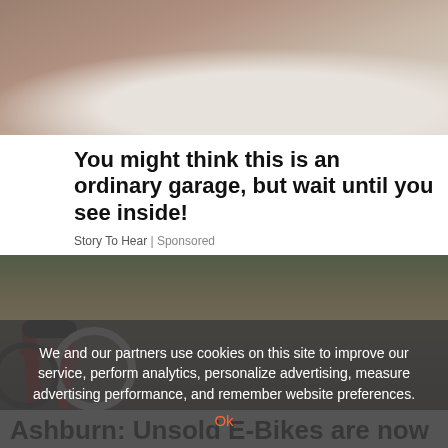[Figure (photo): Top partial photo showing what appears to be a bed or white fabric surface with beige/brown tones]
You might think this is an ordinary garage, but wait until you see inside!
Story To Hear | Sponsored
[Figure (photo): Warehouse or garage interior with multiple motorcycles/e-bikes, wooden pallets, shelving. A red motorcycle/e-bike is prominent in the foreground.]
We and our partners use cookies on this site to improve our service, perform analytics, personalize advertising, measure advertising performance, and remember website preferences.
Ok
Ashburn: Unsold E-Bikes are now almost...